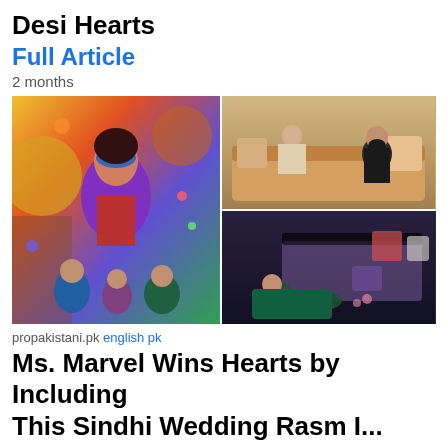Desi Hearts
Full Article
2 months
[Figure (photo): Left: Ms. Marvel movie poster with superhero in mask and colorful background. Top right: Two people in traditional South Asian attire sitting on ornate sofa. Bottom right: Person in dark room bowing/prostrating on floor near sofa.]
propakistani.pk english pk
Ms. Marvel Wins Hearts by Including This Sindhi Wedding Rasm I...
Full Article